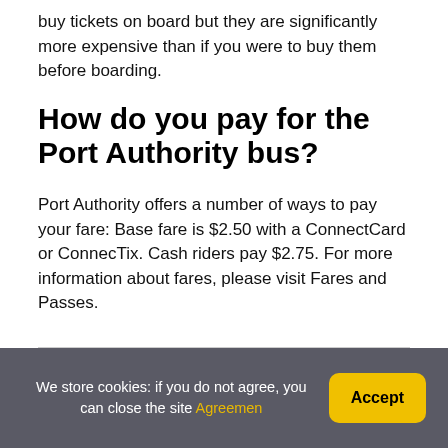buy tickets on board but they are significantly more expensive than if you were to buy them before boarding.
How do you pay for the Port Authority bus?
Port Authority offers a number of ways to pay your fare: Base fare is $2.50 with a ConnectCard or ConnecTix. Cash riders pay $2.75. For more information about fares, please visit Fares and Passes.
We store cookies: if you do not agree, you can close the site Agreemen  Accept